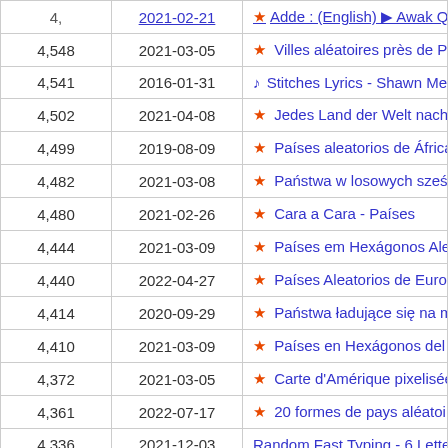| Count | Date | Title |
| --- | --- | --- |
| 4,548 | 2021-03-05 | ★ Villes aléatoires près de Paris sur une |
| 4,541 | 2016-01-31 | ♪ Stitches Lyrics - Shawn Mendes ♪ |
| 4,502 | 2021-04-08 | ★ Jedes Land der Welt nach Flaggenum |
| 4,499 | 2019-08-09 | ★ Países aleatorios de África en un mapa |
| 4,482 | 2021-03-08 | ★ Państwa w losowych sześciokątach na |
| 4,480 | 2021-02-26 | ★ Cara a Cara - Países |
| 4,444 | 2021-03-09 | ★ Países em Hexágonos Aleatórios do M |
| 4,440 | 2022-04-27 | ★ Países Aleatorios de Europa Secuenci |
| 4,414 | 2020-09-29 | ★ Państwa ładujące się na mapie świata |
| 4,410 | 2021-03-09 | ★ Países en Hexágonos del Mapa Mund |
| 4,372 | 2021-03-05 | ★ Carte d'Amérique pixelisée |
| 4,361 | 2022-07-17 | ★ 20 formes de pays aléatoires |
| 4,336 | 2021-12-03 | Random Fast Typing - 6 Letter Words |